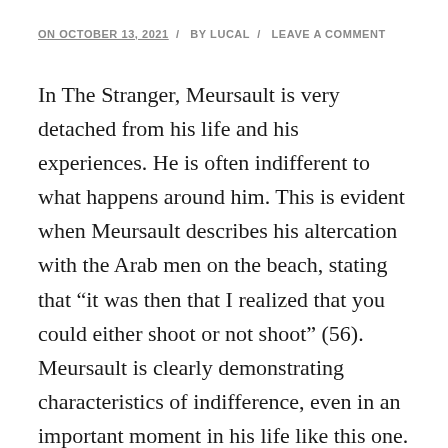ON OCTOBER 13, 2021 / BY LUCAL / LEAVE A COMMENT
In The Stranger, Meursault is very detached from his life and his experiences. He is often indifferent to what happens around him. This is evident when Meursault describes his altercation with the Arab men on the beach, stating that “it was then that I realized that you could either shoot or not shoot” (56). Meursault is clearly demonstrating characteristics of indifference, even in an important moment in his life like this one. This is very similar to the experiences of Binx in the novel The Moviegoer. Binx often daydreams and wanders the streets without a